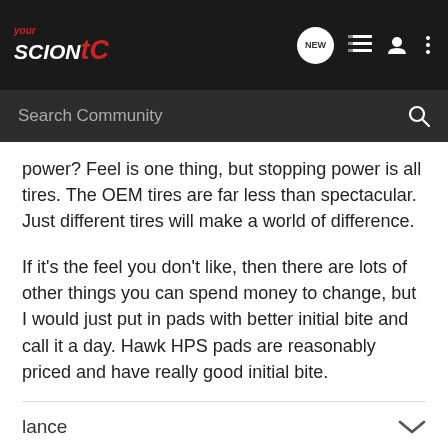YourScionTC navigation bar with logo, NEW badge, list icon, user icon, more icon
Search Community
power? Feel is one thing, but stopping power is all tires. The OEM tires are far less than spectacular. Just different tires will make a world of difference.
If it's the feel you don't like, then there are lots of other things you can spend money to change, but I would just put in pads with better initial bite and call it a day. Hawk HPS pads are reasonably priced and have really good initial bite.
lance